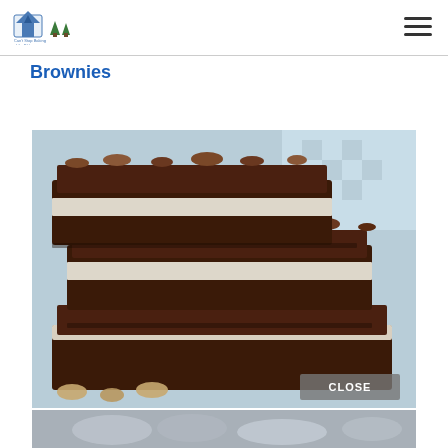Can't Stop Baking (logo) [hamburger menu]
Brownies
[Figure (photo): Stack of chocolate brownies with cream cheese filling and walnut topping, photographed close-up on a light blue checked background. A 'CLOSE' button overlay appears in the lower right of the image.]
[Figure (photo): Partial bottom image, appears to be another food photo, mostly cut off.]